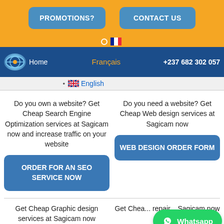PROMOTIONS?  CONTACT US
[Figure (screenshot): Navigation bar with logo, Home, Français, +237 682 302 057]
English (with UK flag)
Do you own a website? Get Cheap Search Engine Optimization services at Sagicam now and increase traffic on your website
Do you need a website? Get Cheap Web design services at Sagicam now
ORDER FOR AN SEO SERVICE NOW
WEB DESIGN ORDER FORM
Get Cheap Graphic design services at Sagicam now
Get Cheap ... repair ... Sagicam now
[Figure (other): WhatsApp green button in bottom right corner]